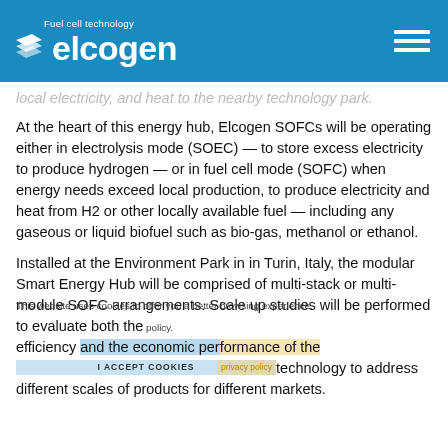Fuel cell technology elcogen
local electricity, and heat to the nearby technology park.
At the heart of this energy hub, Elcogen SOFCs will be operating either in electrolysis mode (SOEC) — to store excess electricity to produce hydrogen — or in fuel cell mode (SOFC) when energy needs exceed local production, to produce electricity and heat from H2 or other locally available fuel — including any gaseous or liquid biofuel such as bio-gas, methanol or ethanol.
Installed at the Environment Park in in Turin, Italy, the modular Smart Energy Hub will be comprised of multi-stack or multi-module SOFC arrangements. Scale up studies will be performed to evaluate both the efficiency and the economic performance of the technology to address different scales of products for different markets.